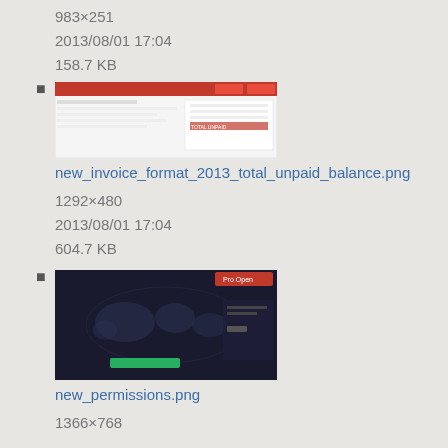983×251
2013/08/01 17:04
158.7 KB
[Figure (screenshot): Thumbnail of new_invoice_format_2013_total_unpaid_balance.png]
new_invoice_format_2013_total_unpaid_balance.png
1292×480
2013/08/01 17:04
604.7 KB
[Figure (screenshot): Thumbnail of new_permissions.png showing dark background with world map]
new_permissions.png
1366×768
2014/08/26 21:22
100 KB
[Figure (screenshot): Thumbnail of new_ticket_form.jpg showing a form interface]
new_ticket_form.jpg
798×491